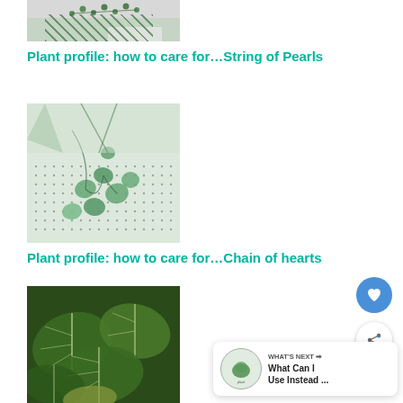[Figure (photo): Cropped photo of String of Pearls plant trailing over a surface, top portion visible]
Plant profile: how to care for…String of Pearls
[Figure (photo): Photo of Chain of Hearts plant with round leaves on a pegboard background]
Plant profile: how to care for…Chain of hearts
[Figure (photo): Close-up photo of large dark green tropical leaves with white veins]